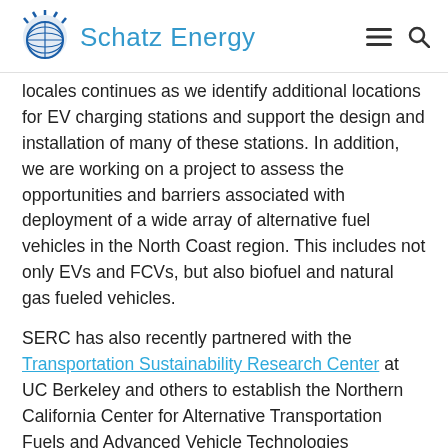Schatz Energy
locales continues as we identify additional locations for EV charging stations and support the design and installation of many of these stations. In addition, we are working on a project to assess the opportunities and barriers associated with deployment of a wide array of alternative fuel vehicles in the North Coast region. This includes not only EVs and FCVs, but also biofuel and natural gas fueled vehicles.
SERC has also recently partnered with the Transportation Sustainability Research Center at UC Berkeley and others to establish the Northern California Center for Alternative Transportation Fuels and Advanced Vehicle Technologies (NorthCAT). NorthCAT will focus on education, training, demonstration, and deployment of alternative transportation fuels and advanced